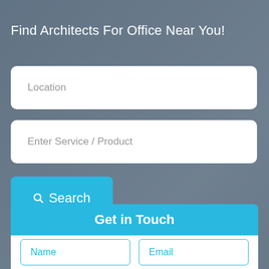Find Architects For Office Near You!
Location
Enter Service / Product
Search
Get in Touch
Name
Email